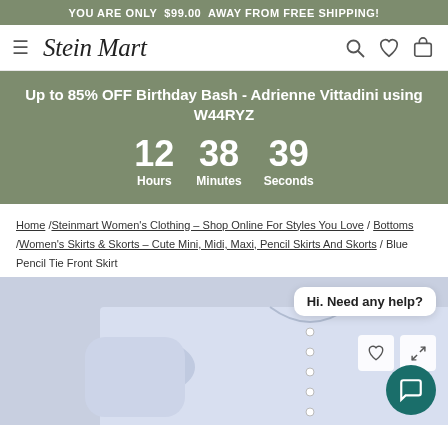YOU ARE ONLY  $99.00  AWAY FROM FREE SHIPPING!
[Figure (logo): Stein Mart logo with hamburger menu icon and navigation icons (search, wishlist, cart)]
Up to 85% OFF Birthday Bash - Adrienne Vittadini using W44RYZ
12 Hours  38 Minutes  39 Seconds
Home /Steinmart Women's Clothing – Shop Online For Styles You Love/ Bottoms /Women's Skirts & Skorts – Cute Mini, Midi, Maxi, Pencil Skirts And Skorts / Blue Pencil Tie Front Skirt
[Figure (photo): Product photo of a light blue/lavender button-up shirt or top, partially visible, with a chat widget overlay saying 'Hi. Need any help?']